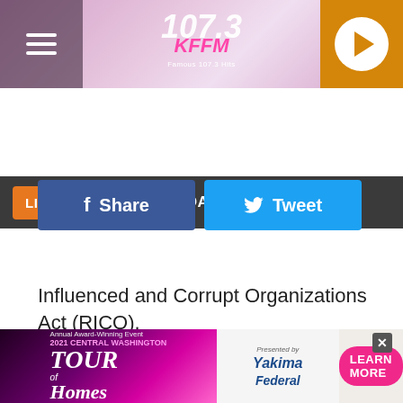[Figure (screenshot): 107.3 KFFM radio station header with pink/purple gradient background, hamburger menu on left, station logo in center, orange play button on right]
[Figure (screenshot): Listen Now button with orange background and arrow, followed by 'MIDDAY WITH SARAH J' text on dark gray bar]
[Figure (screenshot): Blue Facebook Share button and light blue Twitter Tweet button side by side]
Influenced and Corrupt Organizations Act (RICO).
ADVERTISEMENT
[Figure (screenshot): Bottom advertisement banner for Tour of Homes presented by Yakima Federal with Learn More button]